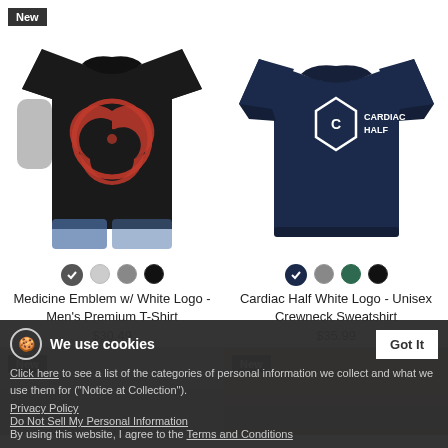[Figure (photo): Man wearing black t-shirt with red biohazard symbol logo, with 'New' badge in top left corner]
[Figure (photo): Navy blue unisex crewneck sweatshirt with white Cardiac Half logo on back]
Medicine Emblem w/ White Logo - Men's Premium T-Shirt
$30.49
Cardiac Half White Logo - Unisex Crewneck Sweatshirt
$35.99
We use cookies
Click here to see a list of the categories of personal information we collect and what we use them for ("Notice at Collection").
Privacy Policy
Do Not Sell My Personal Information
By using this website, I agree to the Terms and Conditions